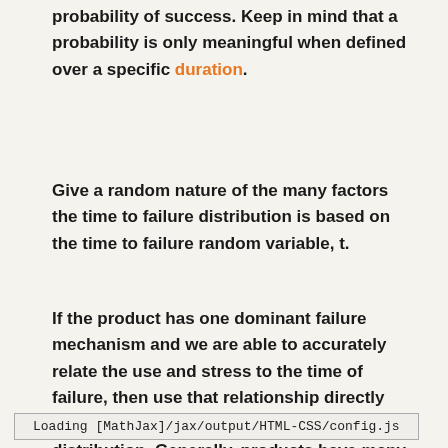probability of success. Keep in mind that a probability is only meaningful when defined over a specific duration.
Give a random nature of the many factors the time to failure distribution is based on the time to failure random variable, t.
If the product has one dominant failure mechanism and we are able to accurately relate the use and stress to the time of failure, then use that relationship directly rather than the random variable and distribution. Generally, products have many possible failure mechanisms completing to cause the product's demise.
Loading [MathJax]/jax/output/HTML-CSS/config.js